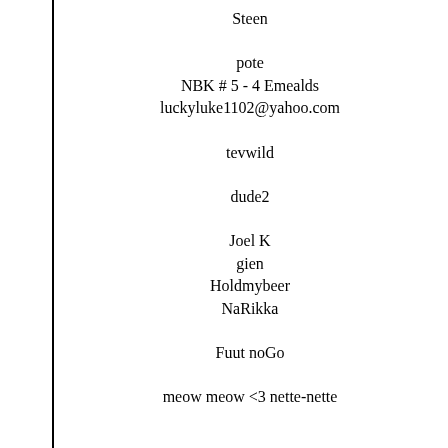Steen
pote
NBK # 5 - 4 Emealds
luckyluke1102@yahoo.com
tevwild
dude2
Joel K
gien
Holdmybeer
NaRikka
Fuut noGo
meow meow <3 nette-nette
Avitone
Profanus Maximus